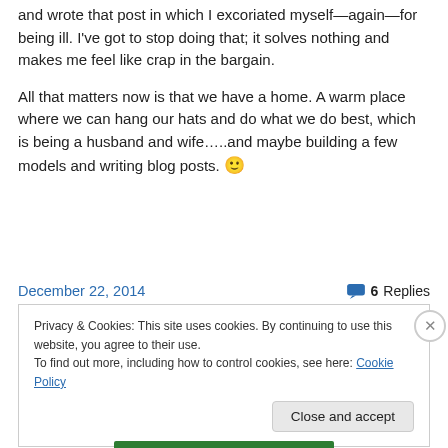and wrote that post in which I excoriated myself—again—for being ill. I've got to stop doing that; it solves nothing and makes me feel like crap in the bargain.
All that matters now is that we have a home. A warm place where we can hang our hats and do what we do best, which is being a husband and wife…..and maybe building a few models and writing blog posts. 🙂
December 22, 2014
6 Replies
Privacy & Cookies: This site uses cookies. By continuing to use this website, you agree to their use.
To find out more, including how to control cookies, see here: Cookie Policy
Close and accept